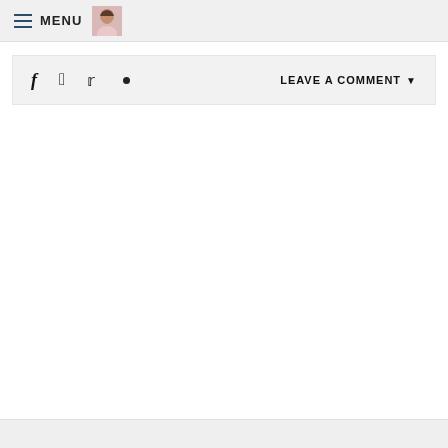MENU
f  p  t  •  LEAVE A COMMENT